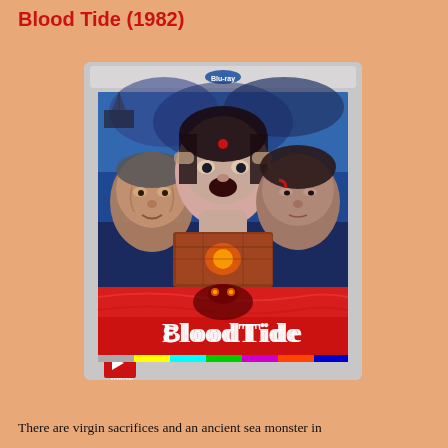Blood Tide (1982)
[Figure (photo): Blu-ray cover art for Blood Tide (1982) by Arrow Video. Shows three faces: an older man on the left, a woman in the center with a red mark on her forehead, and an older woman on the right. The lower portion shows a red sea monster scene with the title 'Blood Tide' in stylized white text. Arrow logo in bottom-left corner. Colorful calibration bars along the bottom edge.]
There are virgin sacrifices and an ancient sea monster in